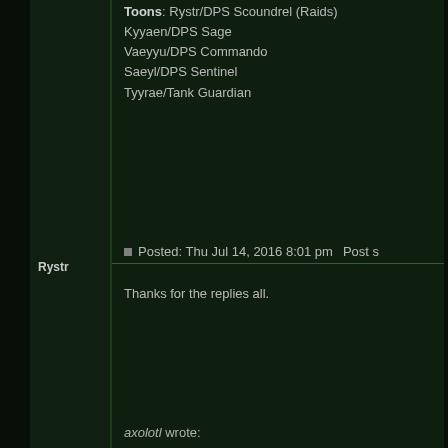Toons: Rystr/DPS Scoundrel (Raids) Kyyaen/DPS Sage Vaeyyu/DPS Commando Saeyl/DPS Sentinel Tyyrae/Tank Guardian
Rystr
Posted: Thu Jul 14, 2016 8:01 pm   Post s
Thanks for the replies all.
axolotl wrote: